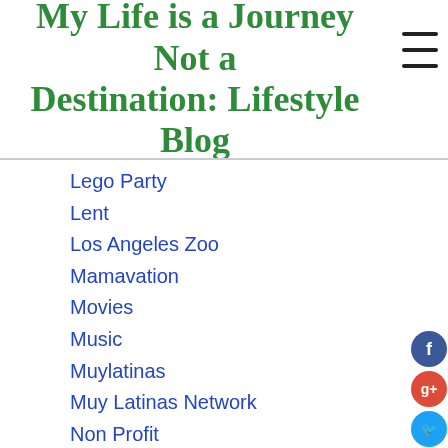My Life is a Journey Not a Destination: Lifestyle Blog
Lego Party
Lent
Los Angeles Zoo
Mamavation
Movies
Music
Muylatinas
Muy Latinas Network
Non Profit
Non-profit
Organic
Organization
Party Ideas
Places
Recetas
Recipes